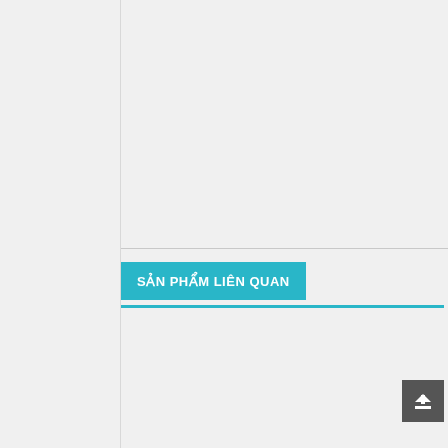SẢN PHẨM LIÊN QUAN
[Figure (other): Back to top button — dark grey square with upward arrow icon in white]